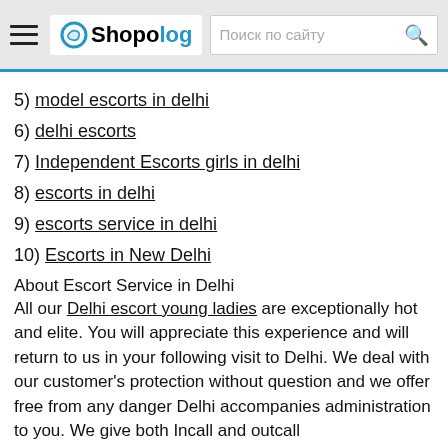Shopolog — Поиск по сайту
5) model escorts in delhi
6) delhi escorts
7) Independent Escorts girls in delhi
8) escorts in delhi
9) escorts service in delhi
10) Escorts in New Delhi
About Escort Service in Delhi
All our Delhi escort young ladies are exceptionally hot and elite. You will appreciate this experience and will return to us in your following visit to Delhi. We deal with our customer's protection without question and we offer free from any danger Delhi accompanies administration to you. We give both Incall and outcall